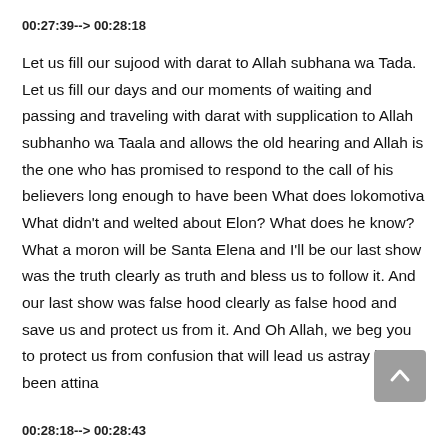00:27:39--> 00:28:18
Let us fill our sujood with darat to Allah subhana wa Tada. Let us fill our days and our moments of waiting and passing and traveling with darat with supplication to Allah subhanho wa Taala and allows the old hearing and Allah is the one who has promised to respond to the call of his believers long enough to have been What does lokomotiva What didn't and welted about Elon? What does he know? What a moron will be Santa Elena and I'll be our last show was the truth clearly as truth and bless us to follow it. And our last show was false hood clearly as false hood and save us and protect us from it. And Oh Allah, we beg you to protect us from confusion that will lead us astray have been attina
00:28:18--> 00:28:43